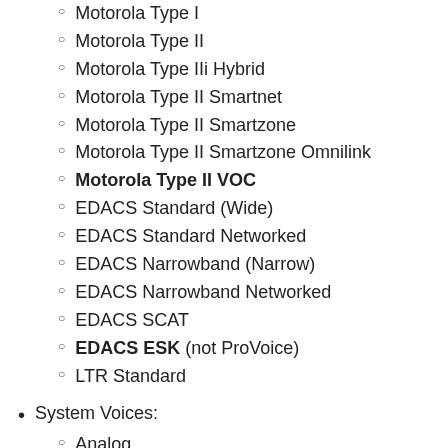Motorola Type I
Motorola Type II
Motorola Type IIi Hybrid
Motorola Type II Smartnet
Motorola Type II Smartzone
Motorola Type II Smartzone Omnilink
Motorola Type II VOC
EDACS Standard (Wide)
EDACS Standard Networked
EDACS Narrowband (Narrow)
EDACS Narrowband Networked
EDACS SCAT
EDACS ESK (not ProVoice)
LTR Standard
System Voices:
Analog